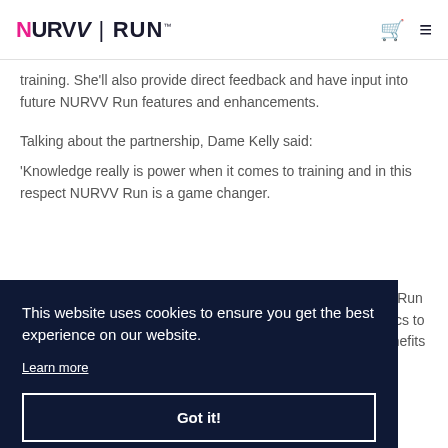NURVV RUN
training. She’ll also provide direct feedback and have input into future NURVV Run features and enhancements.
Talking about the partnership, Dame Kelly said:
‘Knowledge really is power when it comes to training and in this respect NURVV Run is a game changer.
This website uses cookies to ensure you get the best experience on our website. Learn more
Got it!
V Run nics to enefits
n,
uble Olympic gold for more than 80 years, triumphing in both